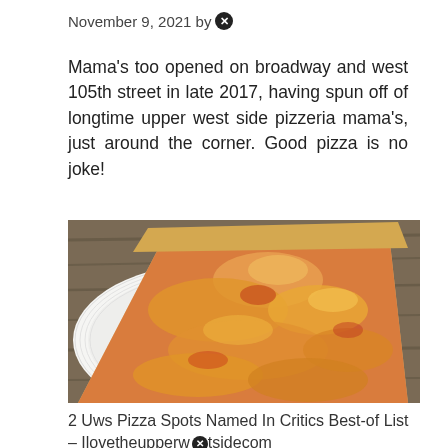November 9, 2021 by [icon]
Mama's too opened on broadway and west 105th street in late 2017, having spun off of longtime upper west side pizzeria mama's, just around the corner. Good pizza is no joke!
[Figure (photo): A slice of cheese pizza on a white paper plate, viewed from above, with melted orange-red cheese and tomato sauce visible, on a wooden surface background.]
2 Uws Pizza Spots Named In Critics Best-of List – Ilovetheupperwestsidecom